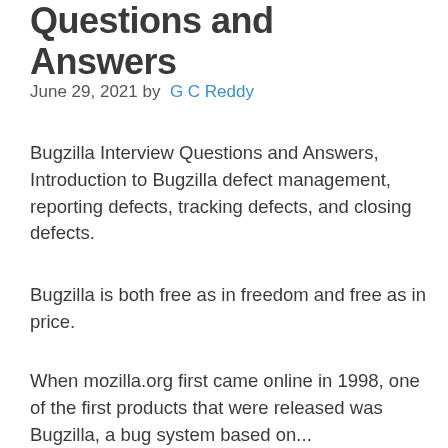Questions and Answers
June 29, 2021 by G C Reddy
Bugzilla Interview Questions and Answers, Introduction to Bugzilla defect management, reporting defects, tracking defects, and closing defects.
Bugzilla is both free as in freedom and free as in price.
When mozilla.org first came online in 1998, one of the first products that were released was Bugzilla, a bug system based on...